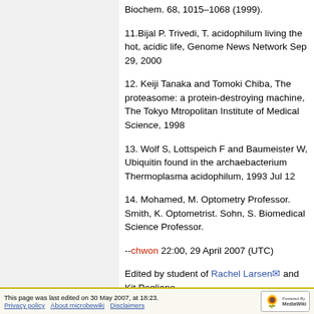Biochem. 68, 1015–1068 (1999).
11.Bijal P. Trivedi, T. acidophilum living the hot, acidic life, Genome News Network Sep 29, 2000
12. Keiji Tanaka and Tomoki Chiba, The proteasome: a protein-destroying machine, The Tokyo Mtropolitan Institute of Medical Science, 1998
13. Wolf S, Lottspeich F and Baumeister W, Ubiquitin found in the archaebacterium Thermoplasma acidophilum, 1993 Jul 12
14. Mohamed, M. Optometry Professor. Smith, K. Optometrist. Sohn, S. Biomedical Science Professor.
--chwon 22:00, 29 April 2007 (UTC)
Edited by student of Rachel Larsen and Kit Pogliano
This page was last edited on 30 May 2007, at 18:23. Privacy policy  About microbewiki  Disclaimers